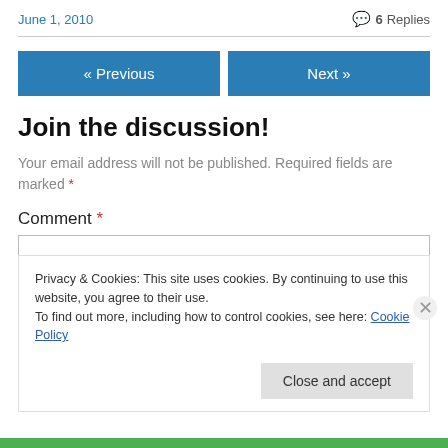June 1, 2010   💬 6 Replies
« Previous   Next »
Join the discussion!
Your email address will not be published. Required fields are marked *
Comment *
Privacy & Cookies: This site uses cookies. By continuing to use this website, you agree to their use.
To find out more, including how to control cookies, see here: Cookie Policy
Close and accept